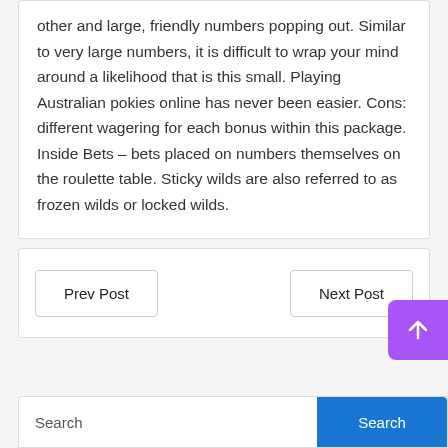other and large, friendly numbers popping out. Similar to very large numbers, it is difficult to wrap your mind around a likelihood that is this small. Playing Australian pokies online has never been easier. Cons: different wagering for each bonus within this package. Inside Bets – bets placed on numbers themselves on the roulette table. Sticky wilds are also referred to as frozen wilds or locked wilds.
Prev Post
Next Post
Search
Search